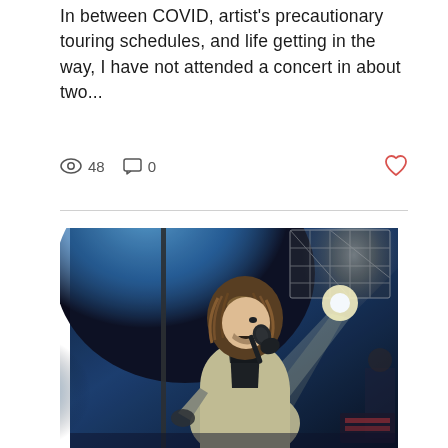In between COVID, artist's precautionary touring schedules, and life getting in the way, I have not attended a concert in about two...
👁 48   💬 0   ♡
[Figure (photo): Concert photo of a singer with dreadlock-style hair wearing a light-colored jacket, singing into a microphone on a stage lit with dramatic blue stage lighting and bright white spotlights from above.]